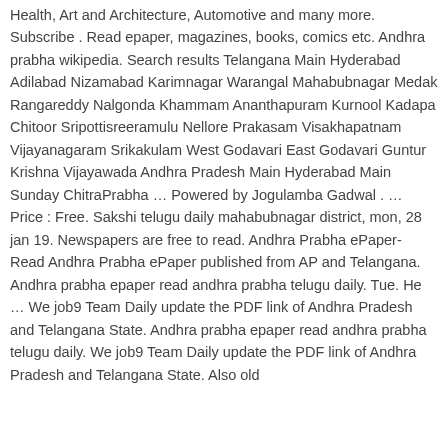Health, Art and Architecture, Automotive and many more. Subscribe . Read epaper, magazines, books, comics etc. Andhra prabha wikipedia. Search results Telangana Main Hyderabad Adilabad Nizamabad Karimnagar Warangal Mahabubnagar Medak Rangareddy Nalgonda Khammam Ananthapuram Kurnool Kadapa Chitoor Sripottisreeramulu Nellore Prakasam Visakhapatnam Vijayanagaram Srikakulam West Godavari East Godavari Guntur Krishna Vijayawada Andhra Pradesh Main Hyderabad Main Sunday ChitraPrabha ... Powered by Jogulamba Gadwal . … Price : Free. Sakshi telugu daily mahabubnagar district, mon, 28 jan 19. Newspapers are free to read. Andhra Prabha ePaper- Read Andhra Prabha ePaper published from AP and Telangana. Andhra prabha epaper read andhra prabha telugu daily. Tue. He … We job9 Team Daily update the PDF link of Andhra Pradesh and Telangana State. Andhra prabha epaper read andhra prabha telugu daily. We job9 Team Daily update the PDF link of Andhra Pradesh and Telangana State. Also old